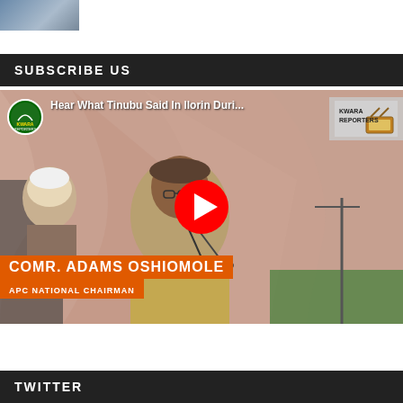[Figure (photo): Small portrait photo thumbnail in top left corner]
SUBSCRIBE US
[Figure (screenshot): YouTube video thumbnail showing Comr. Adams Oshiomole, APC National Chairman, speaking at a podium in Ilorin. Video title reads: Hear What Tinubu Said In Ilorin During... Kwara Reporters TV logo visible. Red YouTube play button overlay. Lower third graphic shows COMR. ADAMS OSHIOMOLE / APC NATIONAL CHAIRMAN in orange bar.]
TWITTER